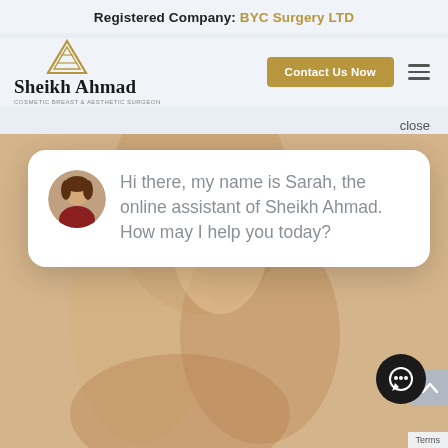Registered Company: BYC Surgery LTD
[Figure (logo): Sheikh Ahmad Cosmetic Breast & Aesthetic Surgeon logo with gold triangle pyramid icon]
Contact Us Now
close
[Figure (photo): Background photo of a person's torso/arms in skin tone]
Hi there, my name is Sarah, the online assistant of Sheikh Ahmad. How may I help you today?
[Figure (infographic): Chat button icon (speech bubble) on dark circle background]
Terms